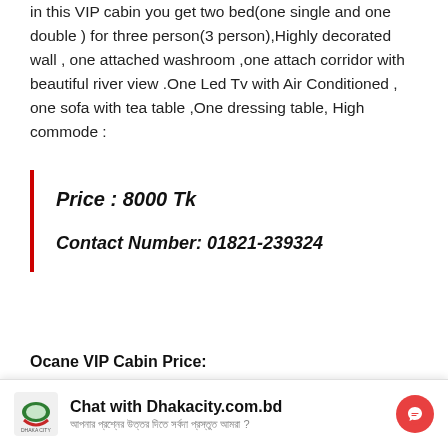in this VIP cabin you get two bed(one single and one double ) for three person(3 person),Highly decorated wall , one attached washroom ,one attach corridor with beautiful river view .One Led Tv with Air Conditioned , one sofa with tea table ,One dressing table, High commode :
Price : 8000 Tk

Contact Number: 01821-239324
Ocane VIP Cabin Price:
[Figure (photo): Photo of a decorated VIP cabin interior showing ornate headboard and patterned wallpaper with 'author' watermark]
Chat with Dhakacity.com.bd